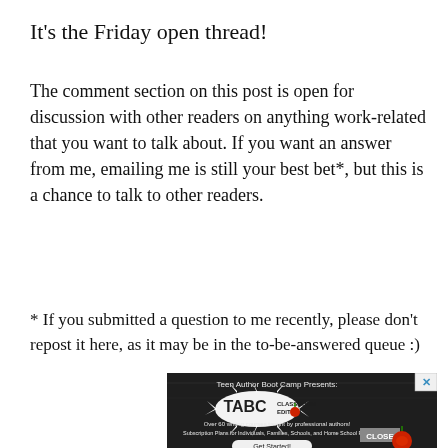It’s the Friday open thread!
The comment section on this post is open for discussion with other readers on anything work-related that you want to talk about. If you want an answer from me, emailing me is still your best bet*, but this is a chance to talk to other readers.
* If you submitted a question to me recently, please don’t repost it here, as it may be in the to-be-answered queue :)
[Figure (screenshot): Advertisement for Teen Author Boot Camp Classroom Edition (TABC). Dark chalkboard background with white logo splash. Text: 'Teen Author Boot Camp Presents:', 'TABC CLASSROOM EDITION', 'Over 60 writing courses taught by professional authors!', 'Subscription Plans for Individuals, Families, Schools, and Home School Pods', 'Get Started!' button. Red apple image. Close button.]